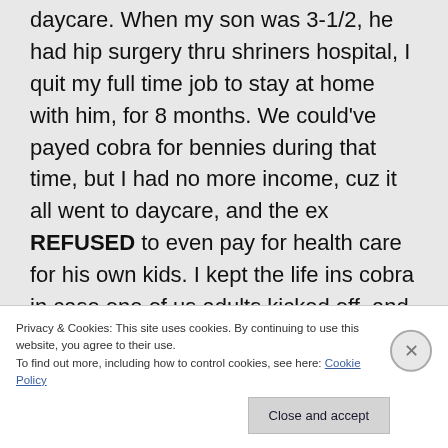daycare. When my son was 3-1/2, he had hip surgery thru shriners hospital, I quit my full time job to stay at home with him, for 8 months. We could've payed cobra for bennies during that time, but I had no more income, cuz it all went to daycare, and the ex REFUSED to even pay for health care for his own kids. I kept the life ins cobra in case one of us adults kicked off, and left the other to fend for him or herself. We went a combined time of almost 3 years
Privacy & Cookies: This site uses cookies. By continuing to use this website, you agree to their use.
To find out more, including how to control cookies, see here: Cookie Policy
Close and accept